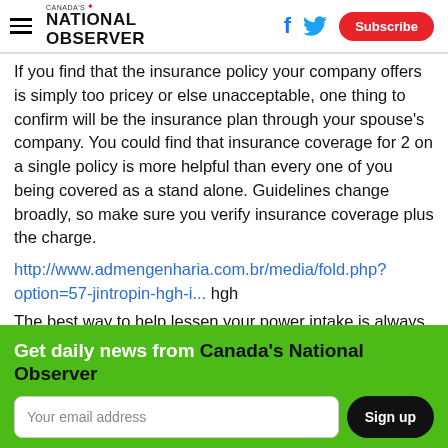Canada's National Observer — Subscribe
If you find that the insurance policy your company offers is simply too pricey or else unacceptable, one thing to confirm will be the insurance plan through your spouse's company. You could find that insurance coverage for 2 on a single policy is more helpful than every one of you being covered as a stand alone. Guidelines change broadly, so make sure you verify insurance coverage plus the charge.
http://www.admengenharia.com.br/media/fold.php?option=57-jintropin-hgh-i... hgh
The best way to help lessen your power intake is always to manage the dishwasher only after it is completely
Get daily news from Canada's National Observer
Your email address